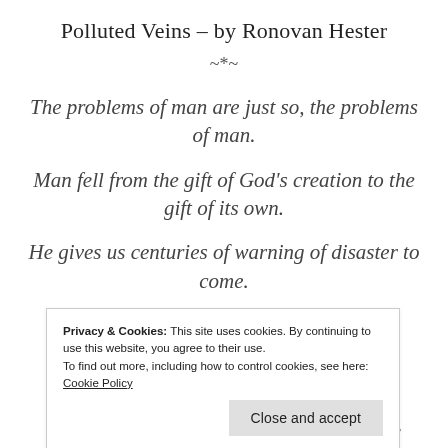Polluted Veins – by Ronovan Hester
~*~
The problems of man are just so, the problems of man.
Man fell from the gift of God's creation to the gift of its own.
He gives us centuries of warning of disaster to come.
Privacy & Cookies: This site uses cookies. By continuing to use this website, you agree to their use. To find out more, including how to control cookies, see here: Cookie Policy
Knowledge, God's greatest gift tells us the